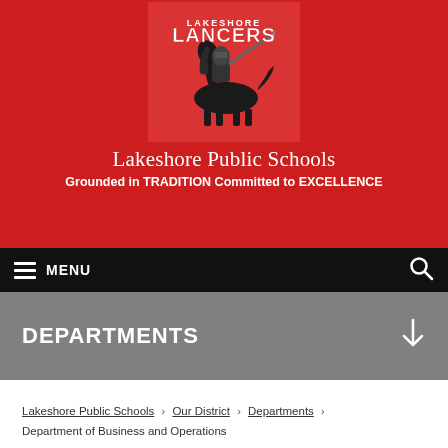[Figure (logo): Lakeshore Lancers mascot logo — knight on horseback with lance, black and red, with text 'LAKESHORE LANCERS']
Lakeshore Public Schools
Grounded in TRADITION Committed to EXCELLENCE
MENU
DEPARTMENTS
Lakeshore Public Schools › Our District › Departments › Department of Business and Operations